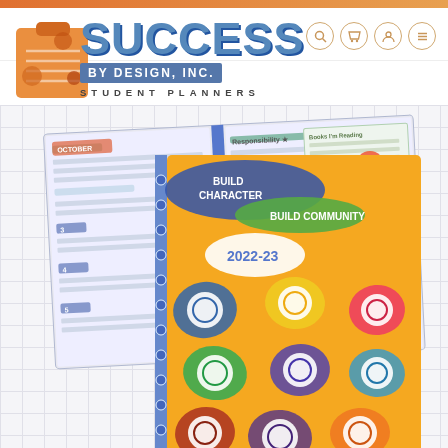[Figure (screenshot): Website screenshot of Success By Design, Inc. Student Planners. Shows company logo with 'SUCCESS' in large blue bold text, 'BY DESIGN, INC.' on a blue background banner, and 'STUDENT PLANNERS' below. Navigation icons (search, cart, user, menu) appear in top right. The main image shows student planner books open and a 2022-23 Build Character Build Community planner cover with colorful character trait icons on an orange background.]